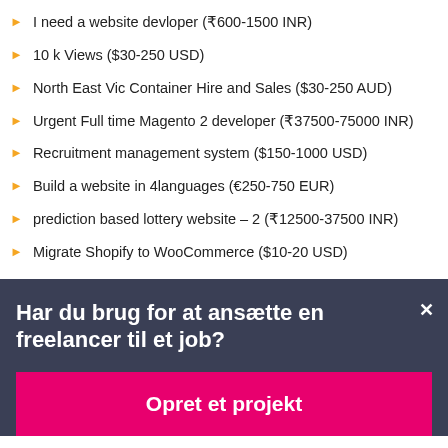I need a website devloper (₹600-1500 INR)
10 k Views ($30-250 USD)
North East Vic Container Hire and Sales ($30-250 AUD)
Urgent Full time Magento 2 developer (₹37500-75000 INR)
Recruitment management system ($150-1000 USD)
Build a website in 4languages (€250-750 EUR)
prediction based lottery website – 2 (₹12500-37500 INR)
Migrate Shopify to WooCommerce ($10-20 USD)
Har du brug for at ansætte en freelancer til et job?
Opret et projekt